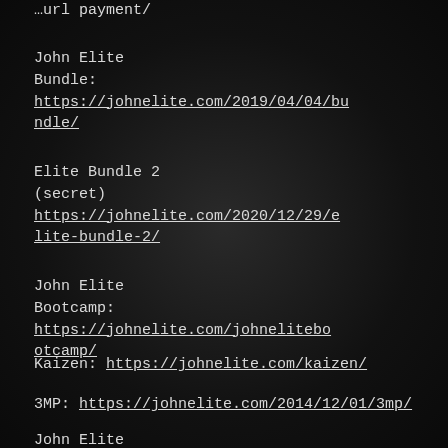…url payment/
John Elite
Bundle: https://johnelite.com/2019/04/04/bundle/
Elite Bundle 2
(secret) https://johnelite.com/2020/12/29/elite-bundle-2/
John Elite
Bootcamp: https://johnelite.com/johnelitebootcamp/
Kaizen: https://johnelite.com/kaizen/
3MP: https://johnelite.com/2014/12/01/3mp/
John Elite